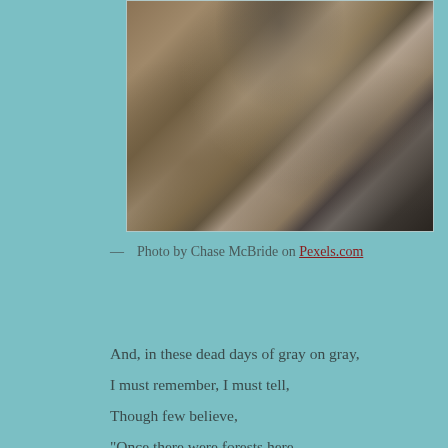[Figure (photo): Aerial or angled view of rocky terrain with large boulders and water between rocks, with a person visible at the top of the image]
— Photo by Chase McBride on Pexels.com
And, in these dead days of gray on gray,
I must remember, I must tell,
Though few believe,
"Once there were forests here,
Trunk on trunk of thick tall tree,